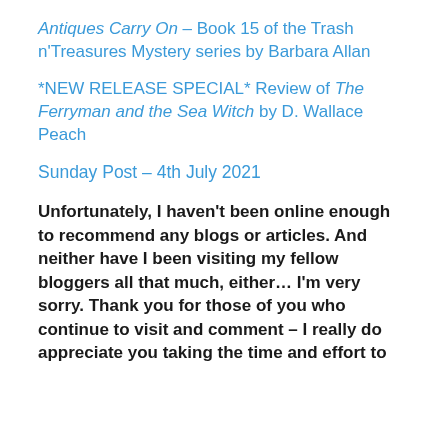Antiques Carry On – Book 15 of the Trash n'Treasures Mystery series by Barbara Allan
*NEW RELEASE SPECIAL* Review of The Ferryman and the Sea Witch by D. Wallace Peach
Sunday Post – 4th July 2021
Unfortunately, I haven't been online enough to recommend any blogs or articles. And neither have I been visiting my fellow bloggers all that much, either… I'm very sorry. Thank you for those of you who continue to visit and comment – I really do appreciate you taking the time and effort to